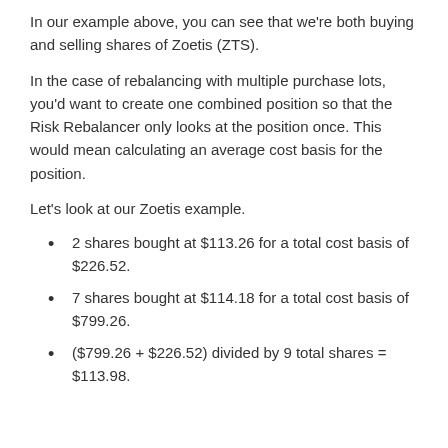In our example above, you can see that we're both buying and selling shares of Zoetis (ZTS).
In the case of rebalancing with multiple purchase lots, you'd want to create one combined position so that the Risk Rebalancer only looks at the position once. This would mean calculating an average cost basis for the position.
Let's look at our Zoetis example.
2 shares bought at $113.26 for a total cost basis of $226.52.
7 shares bought at $114.18 for a total cost basis of $799.26.
($799.26 + $226.52) divided by 9 total shares = $113.98.